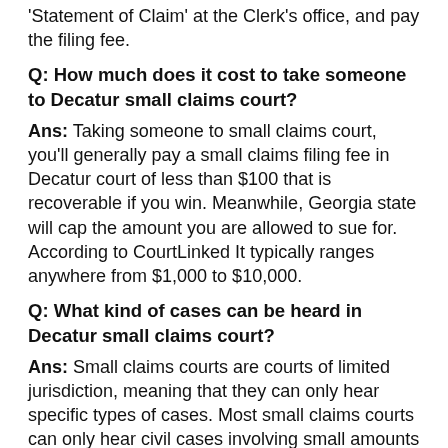'Statement of Claim' at the Clerk's office, and pay the filing fee.
Q: How much does it cost to take someone to Decatur small claims court?
Ans: Taking someone to small claims court, you'll generally pay a small claims filing fee in Decatur court of less than $100 that is recoverable if you win. Meanwhile, Georgia state will cap the amount you are allowed to sue for. According to CourtLinked It typically ranges anywhere from $1,000 to $10,000.
Q: What kind of cases can be heard in Decatur small claims court?
Ans: Small claims courts are courts of limited jurisdiction, meaning that they can only hear specific types of cases. Most small claims courts can only hear civil cases involving small amounts of money, usually $10,000 or less.
Q: To learn more about small claims...